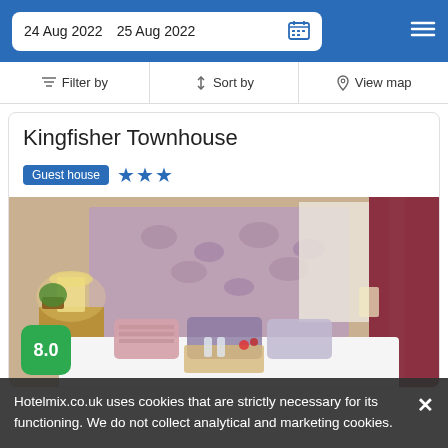24 Aug 2022   25 Aug 2022
Filter by   Sort by   View map
Kingfisher Townhouse
Guest house ★★★
[Figure (photo): Hotel room interior showing a double bed with decorative pillows, floral headboard, bedside lamps, and curtained window. A tray with drinks and flowers is on the bed.]
8.0
Hotelmix.co.uk uses cookies that are strictly necessary for its functioning. We do not collect analytical and marketing cookies.